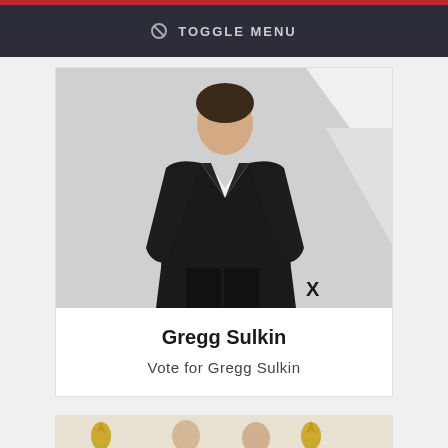TOGGLE MENU
[Figure (photo): Young man in dark suit at a red carpet event with geometric black and white background]
Gregg Sulkin
Vote for Gregg Sulkin
[Figure (photo): Two people posing at Emmy Awards event with Emmy statuette decorations visible]